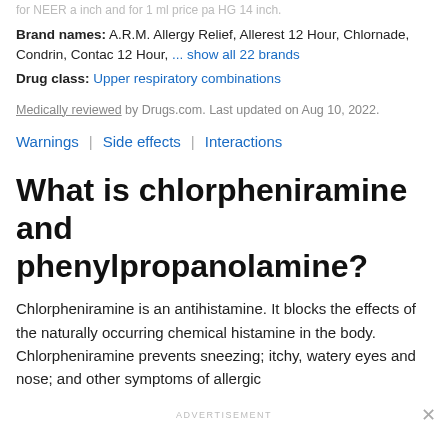for NEER a inch and for 1 ml price pa HG 14 inch.
Brand names: A.R.M. Allergy Relief, Allerest 12 Hour, Chlornade, Condrin, Contac 12 Hour, ... show all 22 brands
Drug class: Upper respiratory combinations
Medically reviewed by Drugs.com. Last updated on Aug 10, 2022.
Warnings | Side effects | Interactions
What is chlorpheniramine and phenylpropanolamine?
Chlorpheniramine is an antihistamine. It blocks the effects of the naturally occurring chemical histamine in the body. Chlorpheniramine prevents sneezing; itchy, watery eyes and nose; and other symptoms of allergic...